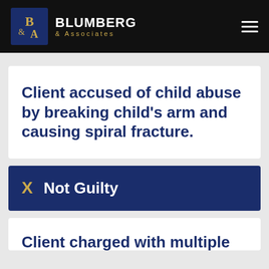BLUMBERG & Associates
Client accused of child abuse by breaking child's arm and causing spiral fracture.
X  Not Guilty
Client charged with multiple